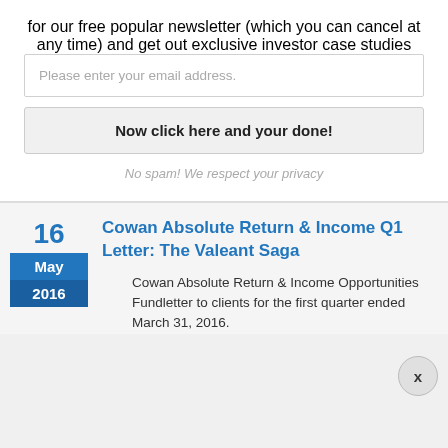for our free popular newsletter (which you can cancel at any time) and get out exclusive investor case studies
Please enter your email address.
Now click here and your done!
No spam! We respect your privacy
Cowan Absolute Return & Income Q1 Letter: The Valeant Saga
16
May
2016
Cowan Absolute Return & Income Opportunities Fundletter to clients for the first quarter ended March 31, 2016.